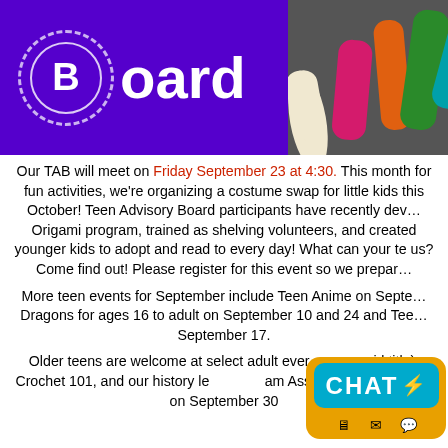[Figure (illustration): Banner image showing 'Board' text with a circled B logo on purple background and colorful raised hands on the right side]
Our TAB will meet on Friday September 23 at 4:30. This month for fun activities, we're organizing a costume swap for little kids this October! Teen Advisory Board participants have recently developed an Origami program, trained as shelving volunteers, and created book bags for younger kids to adopt and read to every day! What can your teen do to help us? Come find out! Please register for this event so we prepare enough.
More teen events for September include Teen Anime on September, Dragons for ages 16 to adult on September 10 and 24 and Teen ... September 17.
Older teens are welcome at select adult events ... (title), Crochet 101, and our history lecture ... Assassinations starting on September 30.
[Figure (screenshot): Chat widget with CHAT text and a lightning bolt icon on teal/orange speech bubble background with icons below]